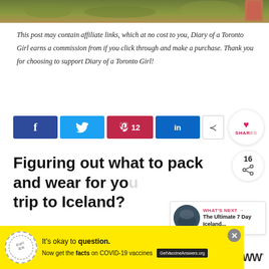[Figure (photo): Top strip showing grass/ground texture with an orange/red object at top right corner]
This post may contain affiliate links, which at no cost to you, Diary of a Toronto Girl earns a commission from if you click through and make a purchase. Thank you for choosing to support Diary of a Toronto Girl!
[Figure (infographic): Social sharing buttons: Facebook, Twitter, Pinterest (12), LinkedIn, Share icons, plus a round bubble showing 1 heart and SHARES text, a count of 16, and a share icon]
Figuring out what to pack and wear for your trip to Iceland?
[Figure (infographic): WHAT'S NEXT arrow box with thumbnail image and text: The Ultimate 7 Day Iceland...]
H... d...
[Figure (infographic): Yellow advertisement bar: It's okay to question. Now get the facts on COVID-19 vaccines. GetVaccineAnswers.org. With a stamp logo and close button.]
[Figure (logo): WW logo with degree symbol]